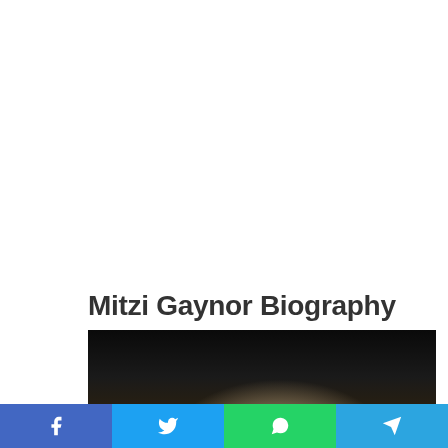Mitzi Gaynor Biography
[Figure (photo): Partial view of Mitzi Gaynor, showing white/blonde hair against a dark background]
Facebook  Twitter  WhatsApp  Telegram